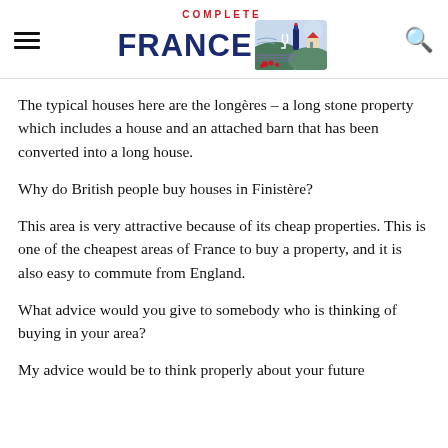COMPLETE FRANCE
The typical houses here are the longères – a long stone property which includes a house and an attached barn that has been converted into a long house.
Why do British people buy houses in Finistère?
This area is very attractive because of its cheap properties. This is one of the cheapest areas of France to buy a property, and it is also easy to commute from England.
What advice would you give to somebody who is thinking of buying in your area?
My advice would be to think properly about your future